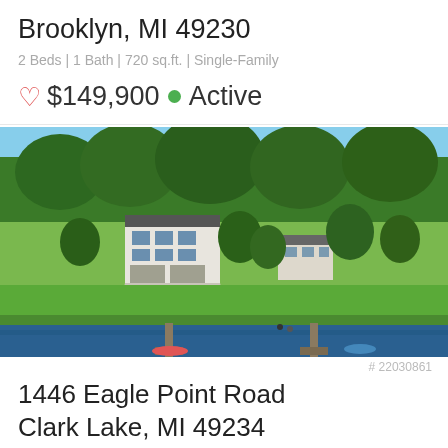Brooklyn, MI 49230
2 Beds | 1 Bath | 720 sq.ft. | Single-Family
♡ $149,900 ● Active
[Figure (photo): Aerial view of lakefront property with large house surrounded by trees, docks visible at waterfront]
# 22030861
1446 Eagle Point Road
Clark Lake, MI 49234
3 Beds | 3 Baths | 1666 sq.ft. | Single-Family